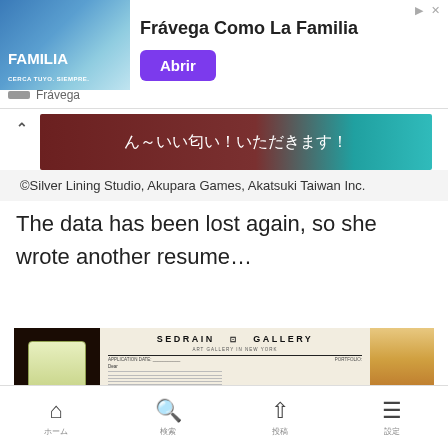[Figure (screenshot): Ad banner for Frávega Como La Familia with sports group photo, purple Abrir button]
[Figure (screenshot): Game screenshot with Japanese text ん～いい匂い！いただきます！ on dark maroon/teal background]
©Silver Lining Studio, Akupara Games, Akatsuki Taiwan Inc.
The data has been lost again, so she wrote another resume…
[Figure (screenshot): Game screenshot showing SEDRAIN GALLERY art gallery in New York application document with green cup and artwork images]
ホーム　　検索　　投稿　　設定